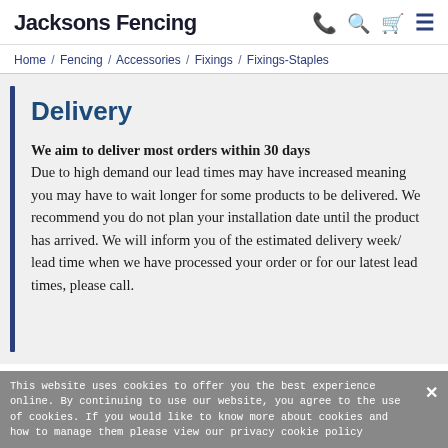Jacksons Fencing
Home / Fencing / Accessories / Fixings / Fixings-Staples
Delivery
We aim to deliver most orders within 30 days
Due to high demand our lead times may have increased meaning you may have to wait longer for some products to be delivered. We recommend you do not plan your installation date until the product has arrived. We will inform you of the estimated delivery week/ lead time when we have processed your order or for our latest lead times, please call.
This website uses cookies to offer you the best experience online. By continuing to use our website, you agree to the use of cookies. If you would like to know more about cookies and how to manage them please view our privacy cookie policy